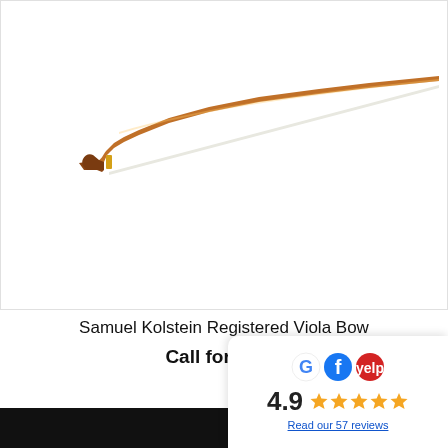[Figure (photo): A viola bow with a brown/amber wooden stick and white horsehair, shown diagonally across the image on a white background.]
Samuel Kolstein Registered Viola Bow
Call for Price
[Figure (infographic): Reviews widget showing Google, Facebook, and Yelp logos, a rating of 4.9 with five gold stars, and a link 'Read our 57 reviews'.]